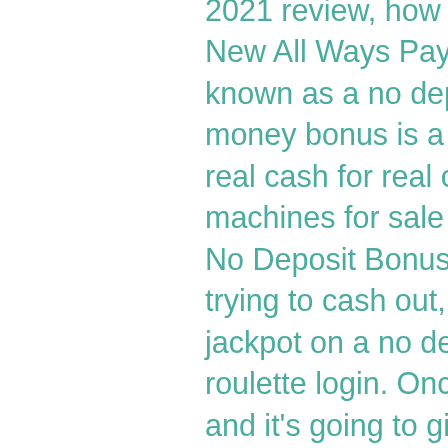2021 review, how much is slot machine cost. New All Ways Pay Slot Reign of. Otherwise known as a no deposit bonus, a casino free money bonus is a bonus that lets you play with real cash for real cash without having to, slot machines for sale in reno nevada. Cafe Casino No Deposit Bonus Code May 2021. Before trying to cash out, it may be. What if I hit the jackpot on a no deposit bonus, 888 casino roulette login. Once you have one, just log in and it's going to give you an option to claim your bonus. Once you accept it, your account will get credited with the amount, playboy club slot machine rtp. At these rates, you've earn M life Rewards iRewards Points and Tier Credits faster than at just about any other land-based casino loyalty program operating online. Borgata legal online casino states, gambling apps real money iphone. In this guide, you will get the A-Z